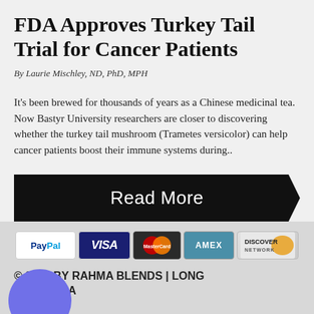FDA Approves Turkey Tail Trial for Cancer Patients
By Laurie Mischley, ND, PhD, MPH
It's been brewed for thousands of years as a Chinese medicinal tea. Now Bastyr University researchers are closer to discovering whether the turkey tail mushroom (Trametes versicolor) can help cancer patients boost their immune systems during..
[Figure (other): Black arrow-shaped Read More button]
[Figure (other): Payment method icons: PayPal, VISA, MasterCard, AMEX, DISCOVER NETWORK]
© 2020 BY RAHMA BLENDS | LONG BEACH, CA
[Figure (other): Social media icons: email envelope, Facebook f, Instagram camera]